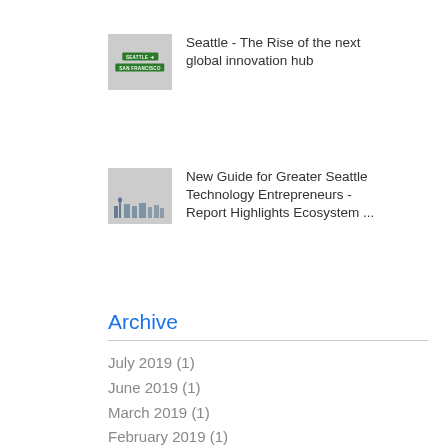[Figure (photo): Thumbnail showing Seattle and San Francisco street signs against a blue sky]
Seattle - The Rise of the next global innovation hub
[Figure (photo): Thumbnail showing Seattle skyline with Space Needle and autumn foliage]
New Guide for Greater Seattle Technology Entrepreneurs - Report Highlights Ecosystem ...
Archive
July 2019 (1)
June 2019 (1)
March 2019 (1)
February 2019 (1)
November 2018 (1)